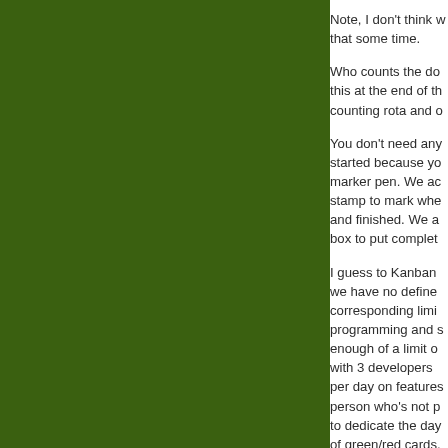[Figure (other): Large dark green rectangular panel occupying the left ~74% of the page]
Note, I don't think w that some time.
Who counts the do this at the end of th counting rota and o
You don't need any started because yo marker pen. We ac stamp to mark whe and finished. We a box to put complet
I guess to Kanban we have no define corresponding limi programming and s enough of a limit o with 3 developers per day on features person who's not p to dedicate the day of green/red cards.